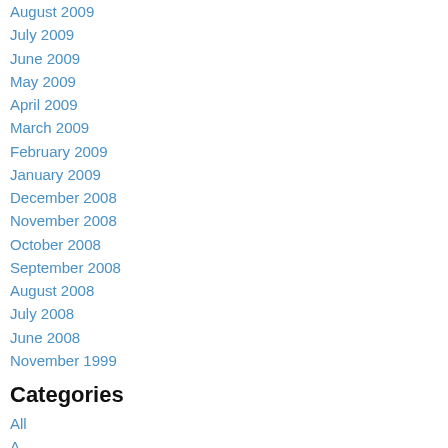August 2009
July 2009
June 2009
May 2009
April 2009
March 2009
February 2009
January 2009
December 2008
November 2008
October 2008
September 2008
August 2008
July 2008
June 2008
November 1999
Categories
All
A
Estryed Infrastructure